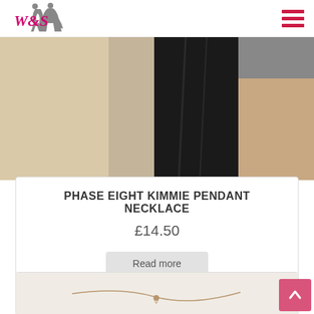[Figure (logo): W&S fashion logo with two dancing figures in gray silhouette and stylized pink/magenta W&S text]
[Figure (photo): Close-up photo of a model wearing a black dress, showing torso and arm against beige/cream background]
PHASE EIGHT KIMMIE PENDANT NECKLACE
£14.50
Read more
[Figure (photo): Partial product photo at bottom showing a delicate necklace on white/cream background]